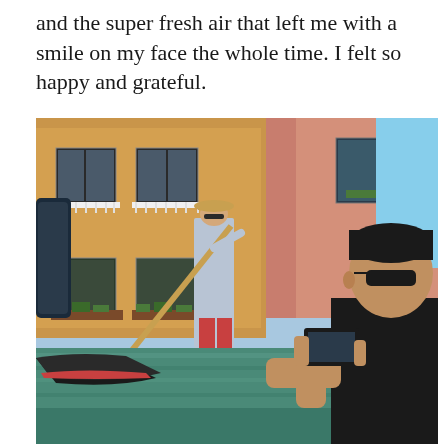and the super fresh air that left me with a smile on my face the whole time. I felt so happy and grateful.
[Figure (photo): A tourist in the foreground (right side, wearing glasses and black shirt) holding a smartphone to photograph a gondolier rowing a gondola in a Venice canal. Behind the gondolier are colorful Venetian buildings in yellow, orange, and pink tones with balconies and window boxes. The canal water is visible in the lower portion.]